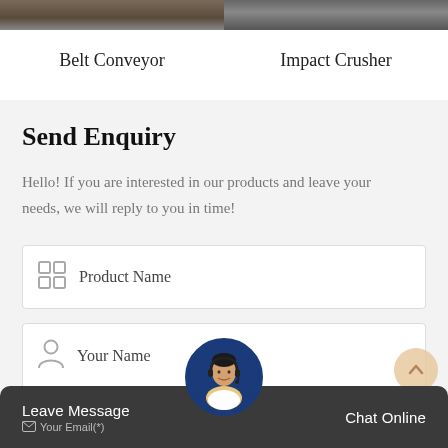[Figure (photo): Top portion of Belt Conveyor product image]
Belt Conveyor
[Figure (photo): Top portion of Impact Crusher product image]
Impact Crusher
Send Enquiry
Hello! If you are interested in our products and leave your needs, we will reply to you in time!
Product Name
Your Name
Leave Message
Your Email(*)
Chat Online